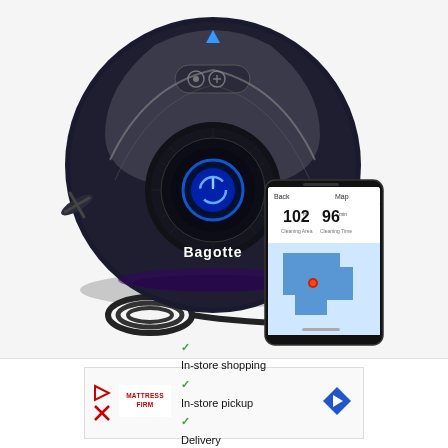[Figure (photo): Bagotte robot vacuum cleaner, black circular device with blue power button and control panel on top, shown with a magnetic boundary strip coiled beside it and a smartphone displaying the companion app with a floor map (102 cleaning area, 96 cleaning time). The phone shows a blue floor map with a red dot.]
[Figure (infographic): Advertisement banner for Mattress Firm with checkmarks listing: In-store shopping, In-store pickup, Delivery. A red X and blue directional arrow icon on the right.]